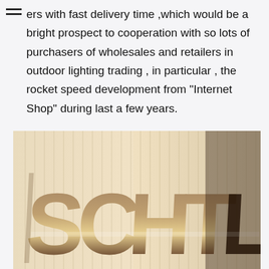ers with fast delivery time ,which would be a bright prospect to cooperation with so lots of purchasers of wholesales and retailers in outdoor lighting trading , in particular , the rocket speed development from "Internet Shop" during last a few years.
[Figure (photo): Photo of large 3D metal letters spelling 'SCHTLITE' mounted on a light-colored vertical slat wall/facade, photographed at an angle with dramatic lighting.]